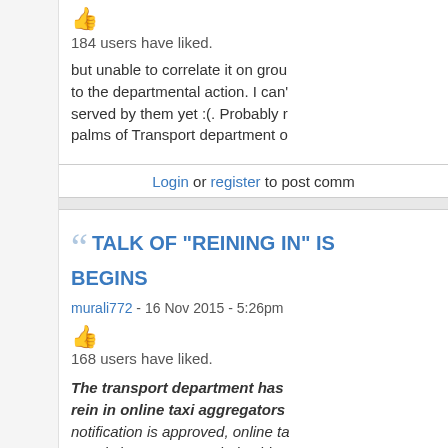184 users have liked.
but unable to correlate it on grou... to the departmental action. I can't... served by them yet :(. Probably r... palms of Transport department o...
Login or register to post comm...
TALK OF "REINING IN" IS... BEGINS
murali772 - 16 Nov 2015 - 5:26pm
168 users have liked.
The transport department has... rein in online taxi aggregators... notification is approved, online ta... travel charges as per their whims... a standardised rate chart.
The new rules will closely monito... guidelines like taxi permits, drive... redressal system. "We have sub... government, and it has invited ob...